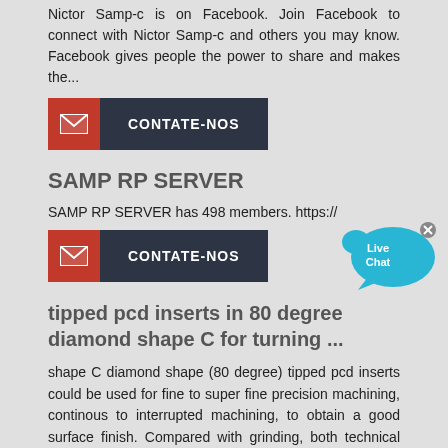Nictor Samp-c is on Facebook. Join Facebook to connect with Nictor Samp-c and others you may know. Facebook gives people the power to share and makes the...
[Figure (infographic): Red and dark button with envelope icon and text CONTATE-NOS]
SAMP RP SERVER
SAMP RP SERVER has 498 members. https://
[Figure (infographic): Red and dark button with envelope icon and text CONTATE-NOS]
[Figure (infographic): Live Chat speech bubble icon in blue with x close button]
tipped pcd inserts in 80 degree diamond shape C for turning ...
shape C diamond shape (80 degree) tipped pcd inserts could be used for fine to super fine precision machining, continous to interrupted machining, to obtain a good surface finish. Compared with grinding, both technical and economic benefits can be achieved by pcd inserts turning and milling, performance of tipped pcd inserts are significantly better than